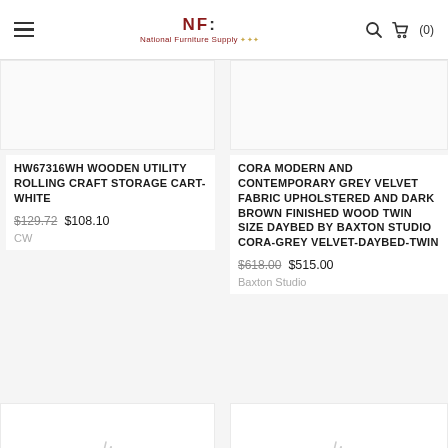National Furniture Supply — hamburger menu, logo, search, cart (0)
HW67316WH WOODEN UTILITY ROLLING CRAFT STORAGE CART-WHITE
$129.72  $108.10
CW
CORA MODERN AND CONTEMPORARY GREY VELVET FABRIC UPHOLSTERED AND DARK BROWN FINISHED WOOD TWIN SIZE DAYBED BY BAXTON STUDIO CORA-GREY VELVET-DAYBED-TWIN
$618.00  $515.00
Baxton Studio